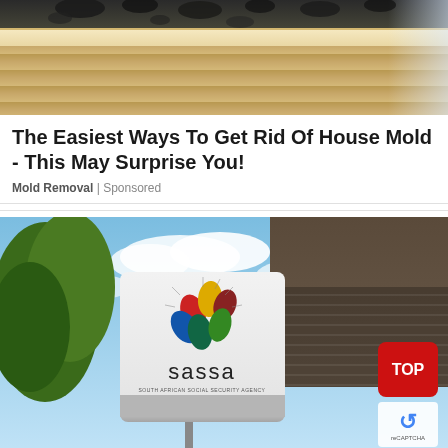[Figure (photo): Close-up photo of house ceiling corner showing mold and wood paneling]
The Easiest Ways To Get Rid Of House Mold - This May Surprise You!
Mold Removal | Sponsored
[Figure (photo): Photo of SASSA (South African Social Security Agency) sign/building exterior with colorful hands logo, sky and tree in background. A red TOP button visible in bottom right corner.]
SRD.SASSA.GOV.ZA Status Check Balance Check